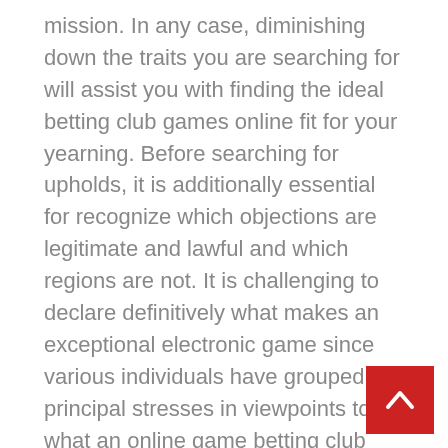mission. In any case, diminishing down the traits you are searching for will assist you with finding the ideal betting club games online fit for your yearning. Before searching for upholds, it is additionally essential for recognize which objections are legitimate and lawful and which regions are not. It is challenging to declare definitively what makes an exceptional electronic game since various individuals have grouped principal stresses in viewpoints to what an online game betting club ought to present.
Club online lead is disconnected into grouped sections to shape it more direct for you to rapidly and essentially find the